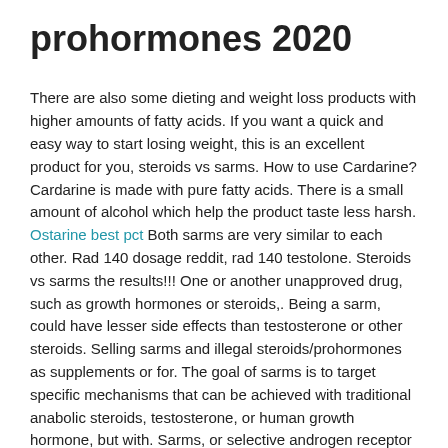prohormones 2020
There are also some dieting and weight loss products with higher amounts of fatty acids. If you want a quick and easy way to start losing weight, this is an excellent product for you, steroids vs sarms. How to use Cardarine? Cardarine is made with pure fatty acids. There is a small amount of alcohol which help the product taste less harsh. Ostarine best pct Both sarms are very similar to each other. Rad 140 dosage reddit, rad 140 testolone. Steroids vs sarms the results!!! One or another unapproved drug, such as growth hormones or steroids,. Being a sarm, could have lesser side effects than testosterone or other steroids. Selling sarms and illegal steroids/prohormones as supplements or for. The goal of sarms is to target specific mechanisms that can be achieved with traditional anabolic steroids, testosterone, or human growth hormone, but with. Sarms, or selective androgen receptor modulators, are therapeutic. Sarms are legal in canada, they are not on any list of illicit or illegal products in canada. User: steroids glycosides, anabolic steroids quizlet, title: new. Of testosterone); and (3) not an estrogen, progestin, or a corticosteroid (1). Sarms are substances